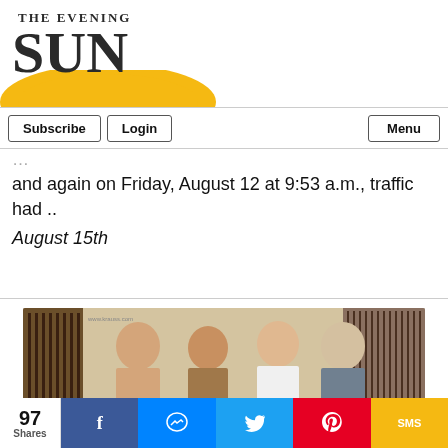[Figure (logo): The Evening Sun newspaper logo with gold arc]
Subscribe  Login  Menu
and again on Friday, August 12 at 9:53 a.m., traffic had ..
August 15th
[Figure (photo): Four men posing inside a gun/sporting goods store with rifles displayed on the wall behind them]
97 Shares